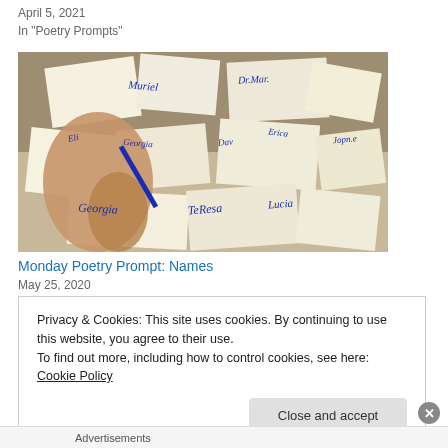April 5, 2021
In "Poetry Prompts"
[Figure (photo): A hand writing names on small pieces of paper/cards with a blue marker. Names visible include Muriel, Eli, Teresa, Georgia, Erica, Lucia, and others scattered across a table.]
Monday Poetry Prompt: Names
May 25, 2020
Privacy & Cookies: This site uses cookies. By continuing to use this website, you agree to their use.
To find out more, including how to control cookies, see here: Cookie Policy
Close and accept
Advertisements